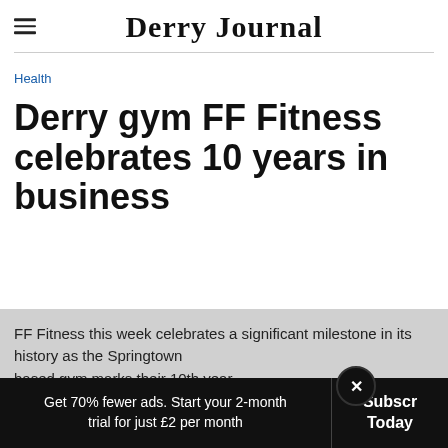Derry Journal
Health
Derry gym FF Fitness celebrates 10 years in business
FF Fitness this week celebrates a significant milestone in its history as the Springtown based gym marks their 10th year...
Get 70% fewer ads. Start your 2-month trial for just £2 per month
Subscribe Today